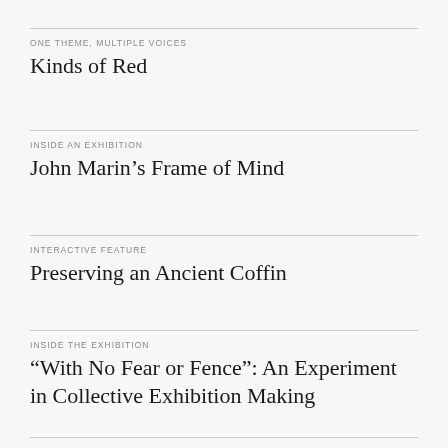ONE THEME, MULTIPLE VOICES
Kinds of Red
INSIDE AN EXHIBITION
John Marin’s Frame of Mind
INTERACTIVE FEATURE
Preserving an Ancient Coffin
INSIDE THE EXHIBITION
“With No Fear or Fence”: An Experiment in Collective Exhibition Making